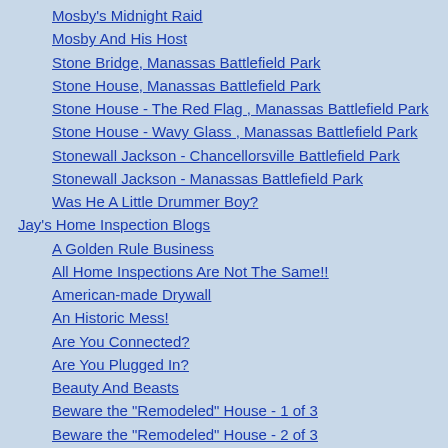Mosby's Midnight Raid
Mosby And His Host
Stone Bridge, Manassas Battlefield Park
Stone House, Manassas Battlefield Park
Stone House - The Red Flag , Manassas Battlefield Park
Stone House - Wavy Glass , Manassas Battlefield Park
Stonewall Jackson - Chancellorsville Battlefield Park
Stonewall Jackson - Manassas Battlefield Park
Was He A Little Drummer Boy?
Jay's Home Inspection Blogs
A Golden Rule Business
All Home Inspections Are Not The Same!!
American-made Drywall
An Historic Mess!
Are You Connected?
Are You Plugged In?
Beauty And Beasts
Beware the "Remodeled" House - 1 of 3
Beware the "Remodeled" House - 2 of 3
Beware the "Remodeled" House - 3 of 3
Beware the Cheap LED Light Fixture!
Black Algae On A Roof
Building To Minimum Standards - Part 1
Building To Minimum Standards - Part 2
Burglar Prevention - Part 1
Burglar Prevention - Part 2
Buyer Red Flags - At the First Look-See (1 of 3)
Buyer Red Flags - At the First Look-See (2 of 3)